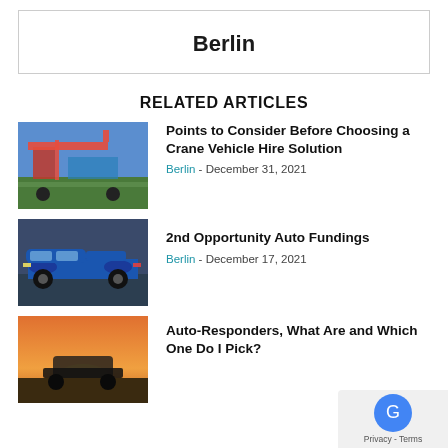Berlin
RELATED ARTICLES
[Figure (photo): Crane vehicle lifting concrete slabs at a construction site with blue sky]
Points to Consider Before Choosing a Crane Vehicle Hire Solution
Berlin - December 31, 2021
[Figure (photo): Blue Audi sports car on a road with autumn trees in the background]
2nd Opportunity Auto Fundings
Berlin - December 17, 2021
[Figure (photo): Vehicle silhouette against a sunset sky]
Auto-Responders, What Are and Which One Do I Pick?